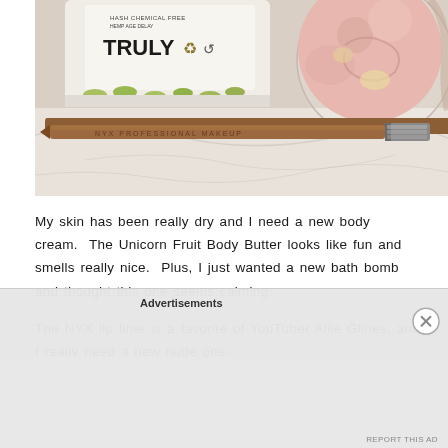[Figure (photo): A photo showing a 'TRULY' branded product container with recycling logos and a green cap, a round pink bath bomb in a glass bowl, and a brown NYX lip liner pencil with a silver cap, all resting on a white marble surface.]
My skin has been really dry and I need a new body cream.  The Unicorn Fruit Body Butter looks like fun and smells really nice.  Plus, I just wanted a new bath bomb and thought this one seems calming.
The NYX lip liner is a favorite of YouTuber Allie Glines, and I really need a new nude one.
Advertisements